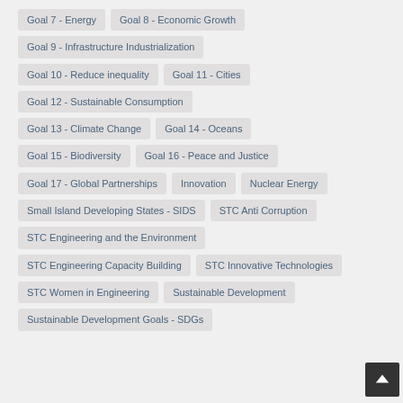Goal 7 - Energy
Goal 8 - Economic Growth
Goal 9 - Infrastructure Industrialization
Goal 10 - Reduce inequality
Goal 11 - Cities
Goal 12 - Sustainable Consumption
Goal 13 - Climate Change
Goal 14 - Oceans
Goal 15 - Biodiversity
Goal 16 - Peace and Justice
Goal 17 - Global Partnerships
Innovation
Nuclear Energy
Small Island Developing States - SIDS
STC Anti Corruption
STC Engineering and the Environment
STC Engineering Capacity Building
STC Innovative Technologies
STC Women in Engineering
Sustainable Development
Sustainable Development Goals - SDGs